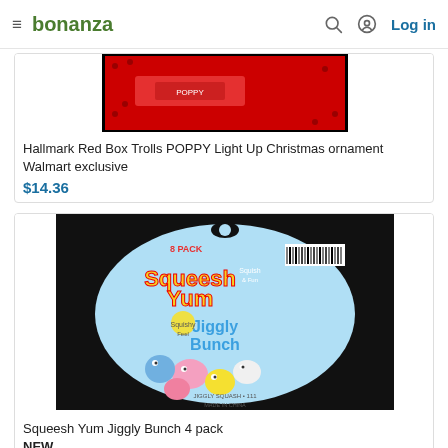bonanza  Log in
[Figure (photo): Hallmark Red Box Trolls POPPY Light Up Christmas ornament product image with red packaging]
Hallmark Red Box Trolls POPPY Light Up Christmas ornament Walmart exclusive
$14.36
[Figure (photo): Squeesh Yum Jiggly Bunch 4 pack product packaging with colorful squishy toy animals on a blue card]
Squeesh Yum Jiggly Bunch 4 pack NEW